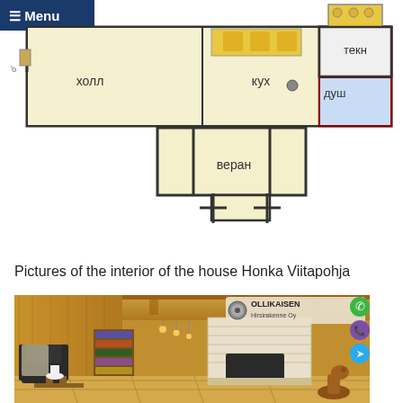[Figure (schematic): Floor plan of Honka Viitapohja house showing rooms: холл (hall), кух (kitchen), душ (shower), с (С room), текн (technical room), веран (veranda). Menu button in top left corner.]
Pictures of the interior of the house Honka Viitapohja
[Figure (photo): Interior photo of a wooden log house living room with fireplace, bookshelf, armchair, wooden ceiling beams, and a rocking horse. OLLIKAISEN Hirsirakenne Oy logo in top right corner with phone, Viber, and Telegram icons on the right side.]